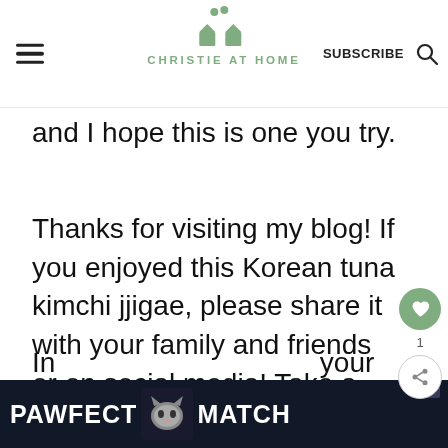CHRISTIE AT HOME
and I hope this is one you try.
Thanks for visiting my blog! If you enjoyed this Korean tuna kimchi jjigae, please share it with your family and friends or on social media! Take a picture if you've made my recipe and tag me on
[Figure (other): PAWFECT MATCH advertisement banner with cat illustration]
In ... your